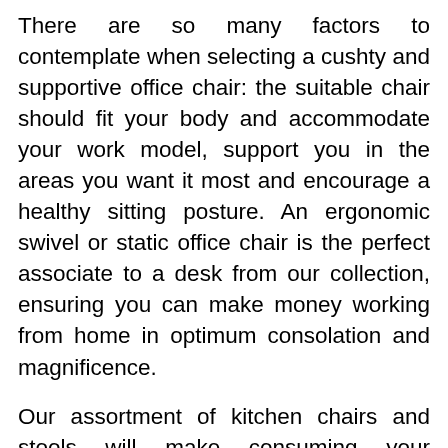There are so many factors to contemplate when selecting a cushty and supportive office chair: the suitable chair should fit your body and accommodate your work model, support you in the areas you want it most and encourage a healthy sitting posture. An ergonomic swivel or static office chair is the perfect associate to a desk from our collection, ensuring you can make money working from home in optimum consolation and magnificence.
Our assortment of kitchen chairs and stools will make consuming your breakfast or sitting down for a coffee a pleasure. Serve up easy-care practicality with fake leather-based eating room chairs. Get